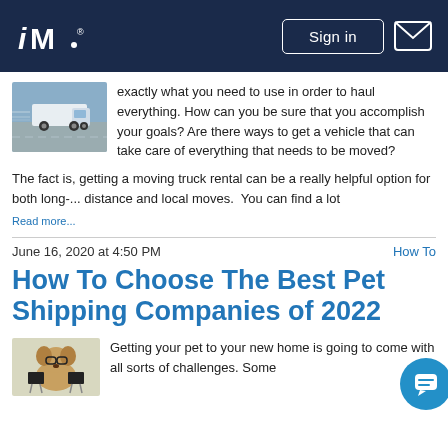iM [logo] | Sign in | [mail icon]
[Figure (photo): A truck driving on a highway, motion blur, blue tones]
exactly what you need to use in order to haul everything. How can you be sure that you accomplish your goals? Are there ways to get a vehicle that can take care of everything that needs to be moved?
The fact is, getting a moving truck rental can be a really helpful option for both long-... distance and local moves.  You can find a lot
Read more...
June 16, 2020 at 4:50 PM
How To
How To Choose The Best Pet Shipping Companies of 2022
[Figure (photo): A French bulldog wearing sunglasses holding small chalkboard signs]
Getting your pet to your new home is going to come with all sorts of challenges. Some